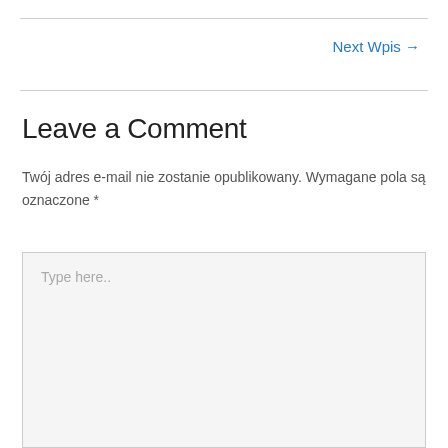Next Wpis →
Leave a Comment
Twój adres e-mail nie zostanie opublikowany. Wymagane pola są oznaczone *
Type here..